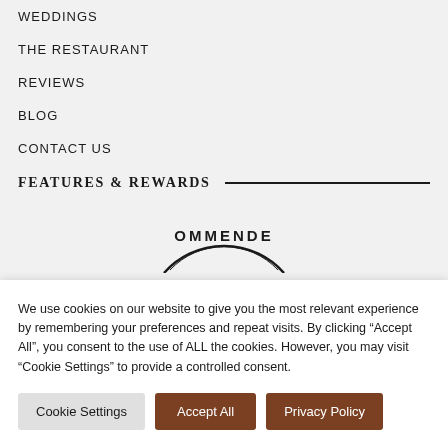WEDDINGS
THE RESTAURANT
REVIEWS
BLOG
CONTACT US
FEATURES & REWARDS
[Figure (logo): Circular badge/seal showing partial text 'OMMENDE' (part of 'RECOMMENDED')]
We use cookies on our website to give you the most relevant experience by remembering your preferences and repeat visits. By clicking “Accept All”, you consent to the use of ALL the cookies. However, you may visit "Cookie Settings" to provide a controlled consent.
Cookie Settings | Accept All | Privacy Policy